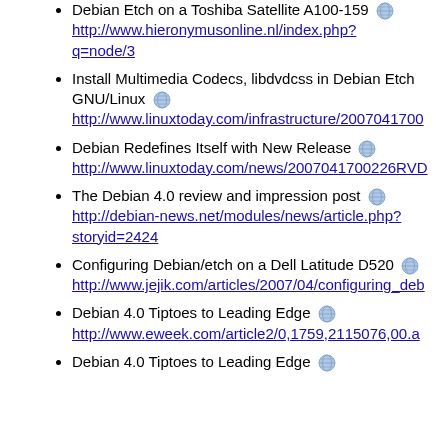Debian Etch on a Toshiba Satellite A100-159 [globe] http://www.hieronymusonline.nl/index.php?q=node/3
Install Multimedia Codecs, libdvdcss in Debian Etch GNU/Linux [globe] http://www.linuxtoday.com/infrastructure/2007041700...
Debian Redefines Itself with New Release [globe] http://www.linuxtoday.com/news/2007041700226RVD...
The Debian 4.0 review and impression post [globe] http://debian-news.net/modules/news/article.php?storyid=2424
Configuring Debian/etch on a Dell Latitude D520 [globe] http://www.jejik.com/articles/2007/04/configuring_deb...
Debian 4.0 Tiptoes to Leading Edge [globe] http://www.eweek.com/article2/0,1759,2115076,00.a...
Debian 4.0 Tiptoes to Leading Edge [globe]